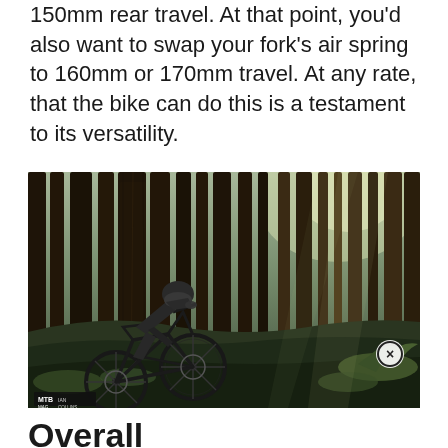150mm rear travel. At that point, you'd also want to swap your fork's air spring to 160mm or 170mm travel. At any rate, that the bike can do this is a testament to its versatility.
[Figure (photo): A mountain biker riding a full-suspension bike through a dense redwood forest, leaning hard into a steep, moss-covered hillside. Photo credit: MTB Mag / Ian Collins.]
Overall